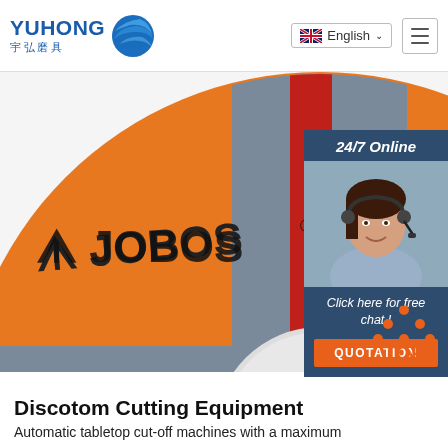[Figure (logo): YUHONG logo with Chinese characters 宇弘磨具 and blue wave/globe icon]
[Figure (photo): Large orange and grey cutting/grinding disc with red stripe, labeled JOBOS, WARNING safety text visible, on white background]
[Figure (photo): Customer service agent woman with headset smiling, in 24/7 Online chat widget sidebar]
[Figure (illustration): TOP button with orange triangle dots above text TOP in orange]
Discotom Cutting Equipment
Automatic tabletop cut-off machines with a maximum